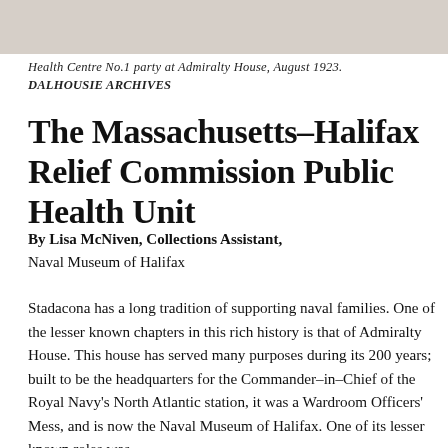[Figure (photo): Black and white photograph strip showing a group at Admiralty House, August 1923.]
Health Centre No.1 party at Admiralty House, August 1923.
DALHOUSIE ARCHIVES
The Massachusetts–Halifax Relief Commission Public Health Unit
By Lisa McNiven, Collections Assistant,
Naval Museum of Halifax
Stadacona has a long tradition of supporting naval families. One of the lesser known chapters in this rich history is that of Admiralty House. This house has served many purposes during its 200 years; built to be the headquarters for the Commander–in–Chief of the Royal Navy's North Atlantic station, it was a Wardroom Officers' Mess, and is now the Naval Museum of Halifax. One of its lesser known roles was to serve as a Naval Hospital and community clinic...